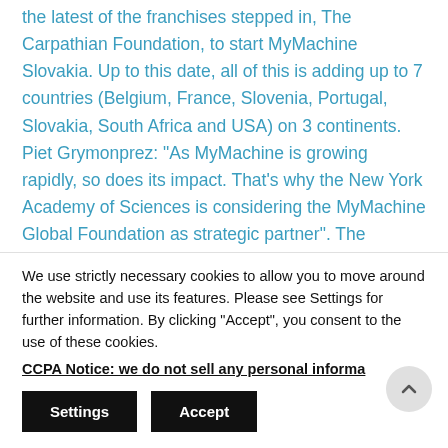the latest of the franchises stepped in, The Carpathian Foundation, to start MyMachine Slovakia. Up to this date, all of this is adding up to 7 countries (Belgium, France, Slovenia, Portugal, Slovakia, South Africa and USA) on 3 continents. Piet Grymonprez: “As MyMachine is growing rapidly, so does its impact. That’s why the New York Academy of Sciences is considering the MyMachine Global Foundation as strategic partner”. The collaboration between the two organizations will focus on strengthening each others methodologies and online services.
We use strictly necessary cookies to allow you to move around the website and use its features. Please see Settings for further information. By clicking “Accept”, you consent to the use of these cookies.
CCPA Notice: we do not sell any personal informa…
Settings
Accept